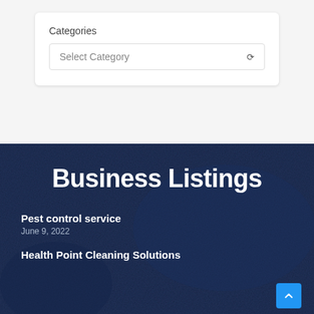Categories
Select Category
Business Listings
Pest control service
June 9, 2022
Health Point Cleaning Solutions